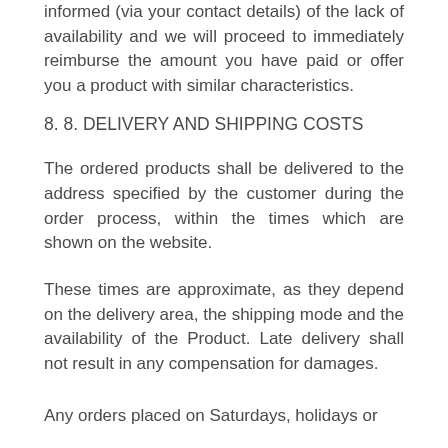informed (via your contact details) of the lack of availability and we will proceed to immediately reimburse the amount you have paid or offer you a product with similar characteristics.
8. 8. DELIVERY AND SHIPPING COSTS
The ordered products shall be delivered to the address specified by the customer during the order process, within the times which are shown on the website.
These times are approximate, as they depend on the delivery area, the shipping mode and the availability of the Product. Late delivery shall not result in any compensation for damages.
Any orders placed on Saturdays, holidays or